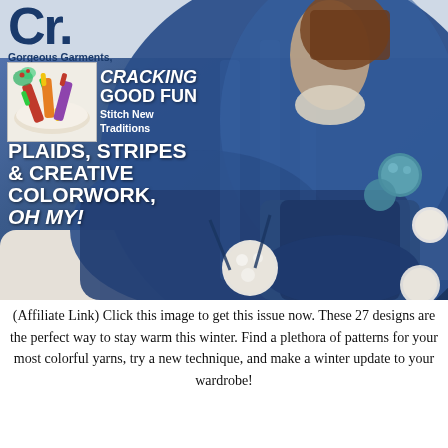[Figure (photo): Magazine cover showing a woman wrapped in a dark navy blue chunky knit sweater/wrap with white and teal pom poms, sitting on a white sofa. Top left corner shows partial magazine title letters 'Cr.' with subtitle 'Gorgeous Garments, Accents & More'. A small inset image shows Christmas crackers on a plate. Text overlays on the cover read: 'CRACKING GOOD FUN Stitch New Traditions' and 'PLAIDS, STRIPES & CREATIVE COLORWORK, OH MY!']
(Affiliate Link) Click this image to get this issue now. These 27 designs are the perfect way to stay warm this winter. Find a plethora of patterns for your most colorful yarns, try a new technique, and make a winter update to your wardrobe!